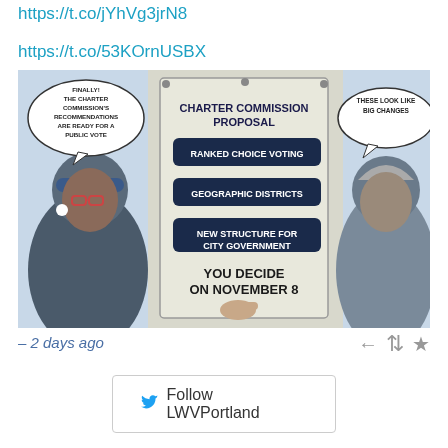https://t.co/jYhVg3jrN8
https://t.co/53KOrnUSBX
[Figure (illustration): Comic-style illustration showing a Charter Commission Proposal sign with three items: Ranked Choice Voting, Geographic Districts, New Structure for City Government. A woman on the left has a speech bubble saying 'Finally! The Charter Commission's recommendations are ready for a public vote.' A man on the right has a speech bubble saying 'These look like big changes.' Bottom text reads 'YOU DECIDE ON NOVEMBER 8']
- 2 days ago
Follow LWVPortland